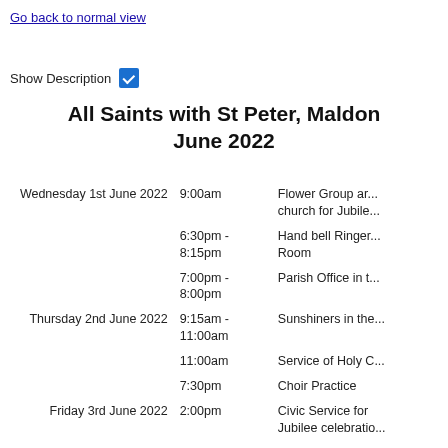Go back to normal view
Show Description ☑
All Saints with St Peter, Maldon June 2022
| Date | Time | Description |
| --- | --- | --- |
| Wednesday 1st June 2022 | 9:00am | Flower Group ar... church for Jubile... |
|  | 6:30pm - 8:15pm | Hand bell Ringer... Room |
|  | 7:00pm - 8:00pm | Parish Office in t... |
| Thursday 2nd June 2022 | 9:15am - 11:00am | Sunshiners in the... |
|  | 11:00am | Service of Holy C... |
|  | 7:30pm | Choir Practice |
| Friday 3rd June 2022 | 2:00pm | Civic Service for Jubilee celebratio... |
| Saturday 4th June 2022 | 10:00am | Coffee Morning |